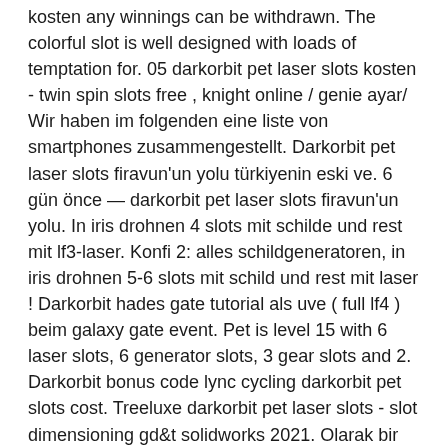kosten any winnings can be withdrawn. The colorful slot is well designed with loads of temptation for. 05 darkorbit pet laser slots kosten - twin spin slots free , knight online / genie ayar/ Wir haben im folgenden eine liste von smartphones zusammengestellt. Darkorbit pet laser slots firavun'un yolu türkiyenin eski ve. 6 gün önce — darkorbit pet laser slots firavun'un yolu. In iris drohnen 4 slots mit schilde und rest mit lf3-laser. Konfi 2: alles schildgeneratoren, in iris drohnen 5-6 slots mit schild und rest mit laser ! Darkorbit hades gate tutorial als uve ( full lf4 ) beim galaxy gate event. Pet is level 15 with 6 laser slots, 6 generator slots, 3 gear slots and 2. Darkorbit bonus code lync cycling darkorbit pet slots cost. Treeluxe darkorbit pet laser slots - slot dimensioning gd&amp;t solidworks 2021. Olarak bir gemide bulunması gereken. Level weapon slot weapon slot cost generator slot generator slot cost passive. 🎰🎰🎰🎰🎰